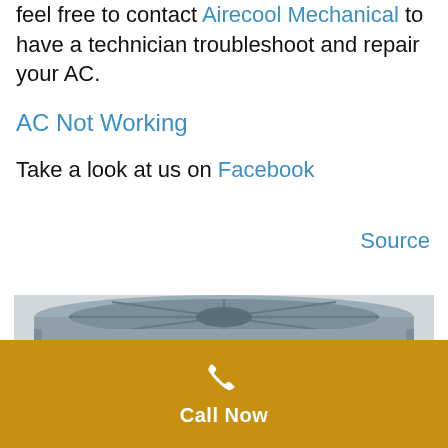feel free to contact Airecool Mechanical to have a technician troubleshoot and repair your AC.
AC Not Working
Take a look at us on Facebook
Source
[Figure (photo): Outdoor AC condenser unit viewed from above and front, showing fan grille and condenser fins, gray colored unit against a light wall.]
Call Now